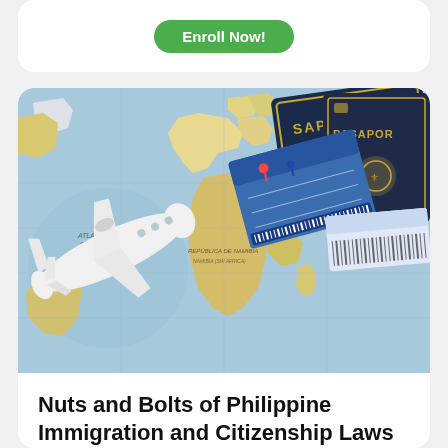[Figure (other): Green rounded button labeled 'Enroll Now!' on white card background]
[Figure (photo): Photo of a world map with a white toy airplane model on the left, and passports labeled 'SAPORTE' and 'PASAPOR' with boarding passes on the upper right]
Nuts and Bolts of Philippine Immigration and Citizenship Laws